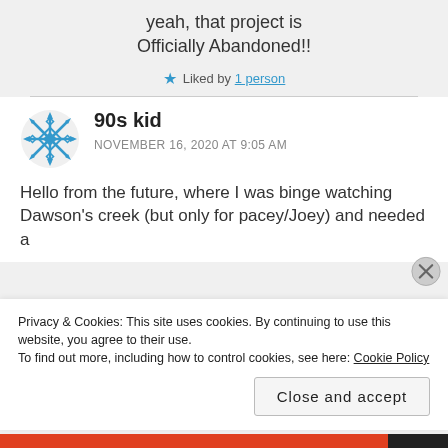yeah, that project is Officially Abandoned!!
★ Liked by 1 person
90s kid
NOVEMBER 16, 2020 AT 9:05 AM
Hello from the future, where I was binge watching Dawson's creek (but only for pacey/Joey) and needed a
Privacy & Cookies: This site uses cookies. By continuing to use this website, you agree to their use. To find out more, including how to control cookies, see here: Cookie Policy
Close and accept